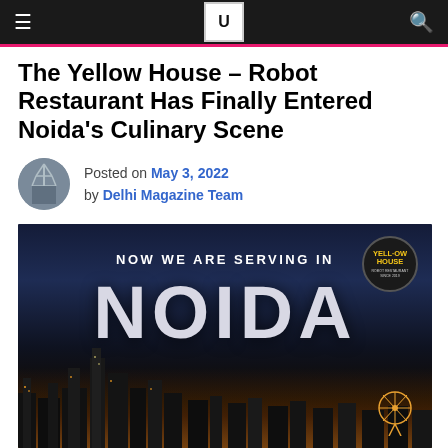Navigation bar with hamburger menu, logo, and search icon
The Yellow House – Robot Restaurant Has Finally Entered Noida's Culinary Scene
Posted on May 3, 2022 by Delhi Magazine Team
[Figure (photo): Promotional image for The Yellow House restaurant with city skyline at night, text 'NOW WE ARE SERVING IN NOIDA', and The Yellow House circular logo in top right corner]